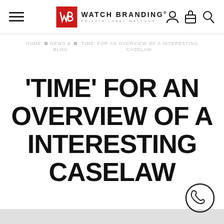Watch Branding – Private Label Watches
HOME › NEWS & BLOG › 'TIME' FOR AN OVERVIEW OF A INTERESTING CASELAW
'TIME' FOR AN OVERVIEW OF A INTERESTING CASELAW